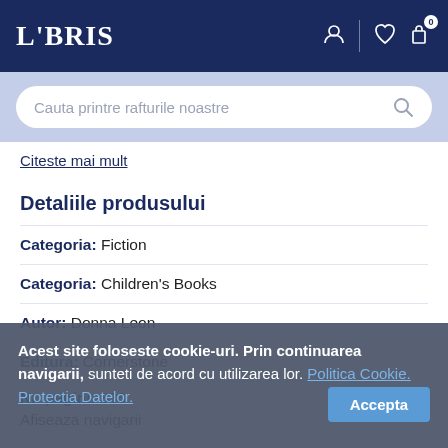LIBRIS
Cauta printre rafturile noastre
Citeste mai mult
Detaliile produsului
Categoria: Fiction
Categoria: Children's Books
Autor: Donna Leon
Editura: Cornerstone
Nr. pagini: 336
Afiseaza navigarii
Acest site foloseste cookie-uri. Prin continuarea navigarii, sunteti de acord cu utilizarea lor. Politica Cookie. Protectia Datelor. Accepta